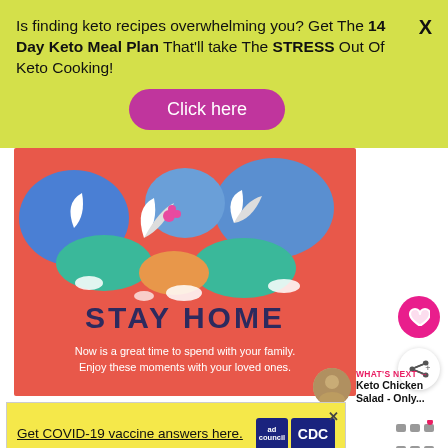Is finding keto recipes overwhelming you? Get The 14 Day Keto Meal Plan That'll take The STRESS Out Of Keto Cooking!
Click here
[Figure (illustration): Stay Home illustration with colorful dinosaurs and plants on red/coral background. Text reads STAY HOME. Now is a great time to spend with your family. Enjoy these moments with your loved ones.]
WHAT'S NEXT → Keto Chicken Salad - Only...
Get COVID-19 vaccine answers here.